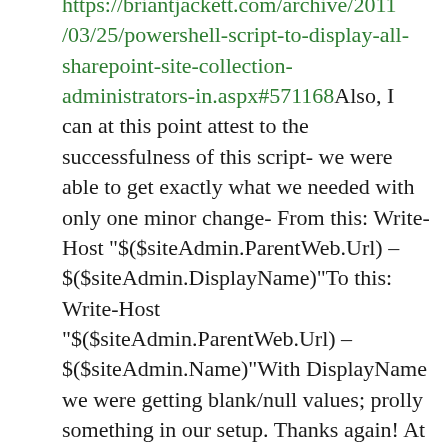Originally posted in: https://briantjackett.com/archive/2011/03/25/powershell-script-to-display-all-sharepoint-site-collection-administrators-in.aspx#571168Also, I can at this point attest to the successfulness of this script- we were able to get exactly what we needed with only one minor change- From this: Write-Host "$($siteAdmin.ParentWeb.Url) – $($siteAdmin.DisplayName)"To this: Write-Host "$($siteAdmin.ParentWeb.Url) – $($siteAdmin.Name)"With DisplayName we were getting blank/null values; prolly something in our setup. Thanks again! At some point I hope I'm able to give you a hug!